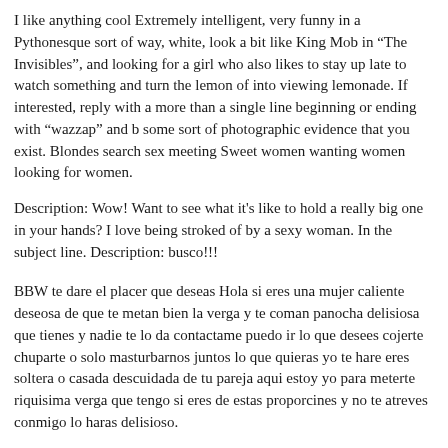I like anything cool Extremely intelligent, very funny in a Pythonesque sort of way, white, look a bit like King Mob in "The Invisibles", and looking for a girl who also likes to stay up late to watch something and turn the lemon of into viewing lemonade. If interested, reply with a more than a single line beginning or ending with "wazzap" and b some sort of photographic evidence that you exist. Blondes search sex meeting Sweet women wanting women looking for women.
Description: Wow! Want to see what it's like to hold a really big one in your hands? I love being stroked of by a sexy woman. In the subject line. Description: busco!!!
BBW te dare el placer que deseas Hola si eres una mujer caliente deseosa de que te metan bien la verga y te coman panocha delisiosa que tienes y nadie te lo da contactame puedo ir lo que desees cojerte chuparte o solo masturbarnos juntos lo que quieras yo te hare eres soltera o casada descuidada de tu pareja aqui estoy yo para meterte riquisima verga que tengo si eres de estas proporcines y no te atreves conmigo lo haras delisioso.
Women wants orgy. Quick Browse. Advanced Search. I am a:. New to Las Vegas, looking for new friends Looking for a bestie!!